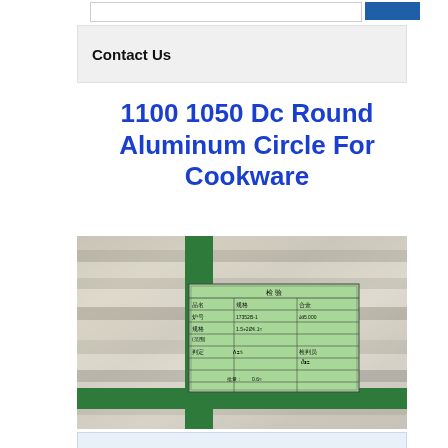Contact Us
1100 1050 Dc Round Aluminum Circle For Cookware
[Figure (photo): Photo of aluminum circle rolls wrapped with a green strap, with a Chinese inspection label/tag attached]
1100 1050 3003 Aluminum Circl...